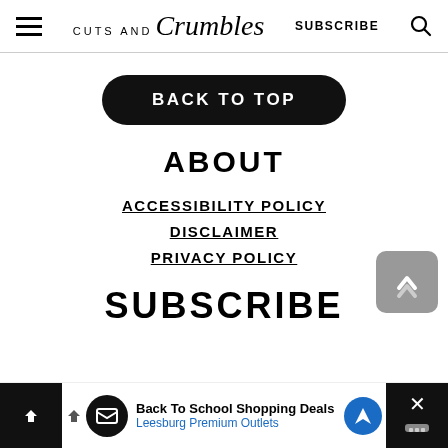CUTS AND Crumbles | SUBSCRIBE | Search
BACK TO TOP
ABOUT
ACCESSIBILITY POLICY
DISCLAIMER
PRIVACY POLICY
SUBSCRIBE
Back To School Shopping Deals Leesburg Premium Outlets